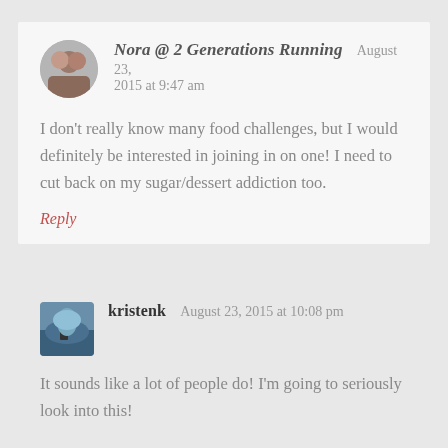Nora @ 2 Generations Running   August 23, 2015 at 9:47 am
I don't really know many food challenges, but I would definitely be interested in joining in on one! I need to cut back on my sugar/dessert addiction too.
Reply
kristenk   August 23, 2015 at 10:08 pm
It sounds like a lot of people do! I'm going to seriously look into this!